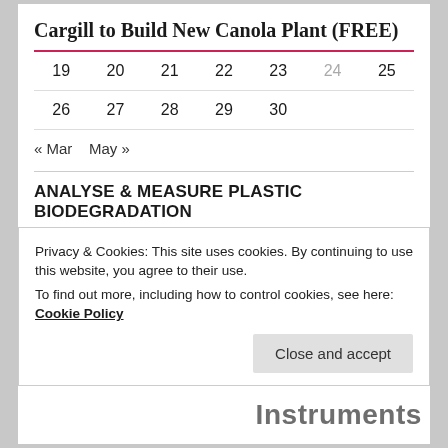Cargill to Build New Canola Plant (FREE)
| 19 | 20 | 21 | 22 | 23 | 24 | 25 |
| --- | --- | --- | --- | --- | --- | --- |
| 26 | 27 | 28 | 29 | 30 |  |  |
« Mar    May »
ANALYSE & MEASURE PLASTIC BIODEGRADATION
Privacy & Cookies: This site uses cookies. By continuing to use this website, you agree to their use.
To find out more, including how to control cookies, see here: Cookie Policy
Close and accept